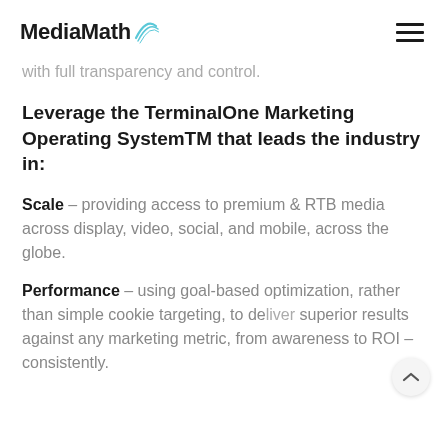MediaMath
with full transparency and control.
Leverage the TerminalOne Marketing Operating SystemTM that leads the industry in:
Scale – providing access to premium & RTB media across display, video, social, and mobile, across the globe.
Performance – using goal-based optimization, rather than simple cookie targeting, to deliver superior results against any marketing metric, from awareness to ROI – consistently.